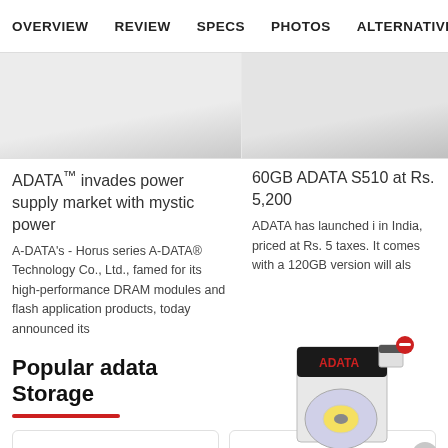OVERVIEW  REVIEW  SPECS  PHOTOS  ALTERNATIVES
[Figure (photo): Product/article image left column, light gray background]
[Figure (photo): Product/article image right column, light gray background]
ADATA™ invades power supply market with mystic power
60GB ADATA S510 at Rs. 5,200
A-DATA's - Horus series A-DATA® Technology Co., Ltd., famed for its high-performance DRAM modules and flash application products, today announced its
ADATA has launched it in India, priced at Rs. 5 taxes. It comes with a 120GB version will als
Popular adata Storage
[Figure (photo): ADATA product box with storage device, floating in right column]
[Figure (photo): Product card left, partially visible]
[Figure (photo): Product card right with dark textured storage device visible]